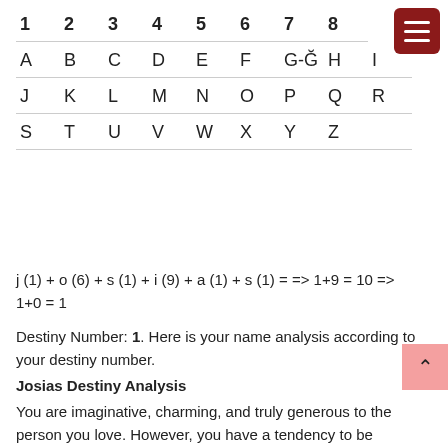| 1 | 2 | 3 | 4 | 5 | 6 | 7 | 8 |
| --- | --- | --- | --- | --- | --- | --- | --- |
| A | B | C | D | E | F | G-Ğ | H | I |
| J | K | L | M | N | O | P | Q | R |
| S | T | U | V | W | X | Y | Z |  |
Destiny Number: 1. Here is your name analysis according to your destiny number.
Josias Destiny Analysis
You are imaginative, charming, and truly generous to the person you love. However, you have a tendency to be